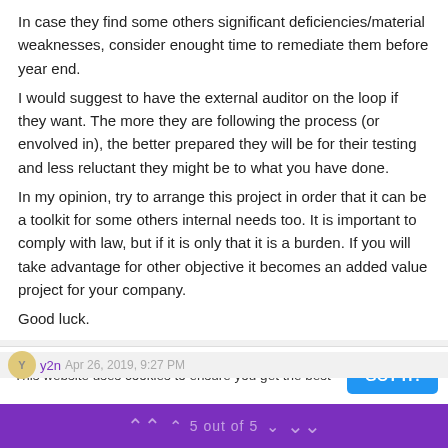In case they find some others significant deficiencies/material weaknesses, consider enought time to remediate them before year end.
I would suggest to have the external auditor on the loop if they want. The more they are following the process (or envolved in), the better prepared they will be for their testing and less reluctant they might be to what you have done.
In my opinion, try to arrange this project in order that it can be a toolkit for some others internal needs too. It is important to comply with law, but if it is only that it is a burden. If you will take advantage for other objective it becomes an added value project for your company.
Good luck.
^ 0 v  ⋮
This website uses cookies to ensure you get the best
GOT IT!
⋀ ⋀  5 out of 5  ∨  ∨